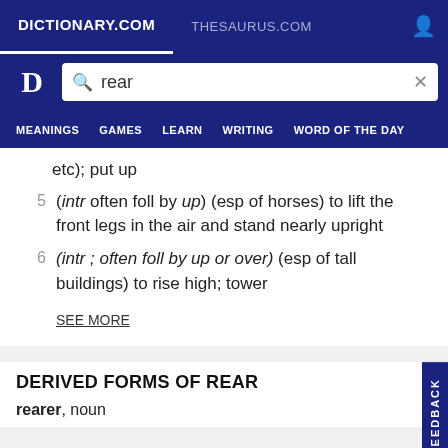DICTIONARY.COM  THESAURUS.COM
etc); put up
5  (intr often foll by up) (esp of horses) to lift the front legs in the air and stand nearly upright
6  (intr ; often foll by up or over) (esp of tall buildings) to rise high; tower
SEE MORE
DERIVED FORMS OF REAR
rearer, noun